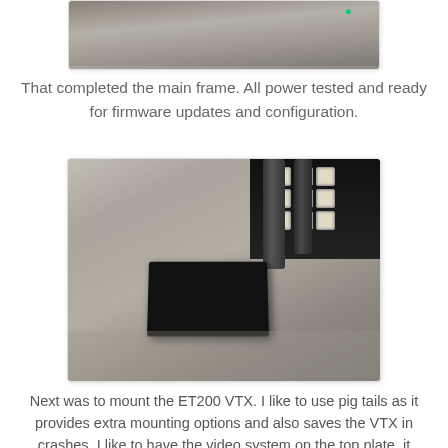[Figure (photo): Close-up photo of electronic component on carpet/textile surface, partially cropped at top of page]
That completed the main frame. All power tested and ready for firmware updates and configuration.
[Figure (photo): Photo of drone/RC frame component on carpet showing black carbon fiber stack with connector block (white square connectors) and cylindrical standoffs]
Next was to mount the ET200 VTX. I like to use pig tails as it provides extra mounting options and also saves the VTX in crashes. I like to have the video system on the top plate, it makes it easier to work on. I used a 5cm RP-SMA pigtail